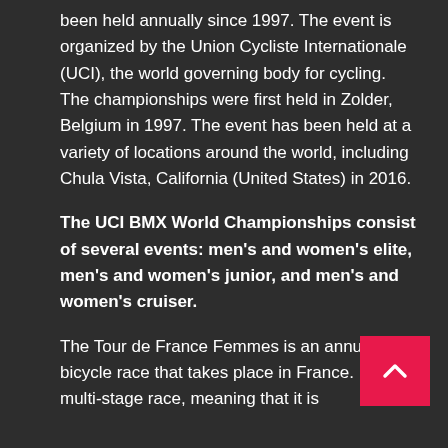been held annually since 1997. The event is organized by the Union Cycliste Internationale (UCI), the world governing body for cycling. The championships were first held in Zolder, Belgium in 1997. The event has been held at a variety of locations around the world, including Chula Vista, California (United States) in 2016.
The UCI BMX World Championships consist of several events: men's and women's elite, men's and women's junior, and men's and women's cruiser.
The Tour de France Femmes is an annual bicycle race that takes place in France. It is a multi-stage race, meaning that it is